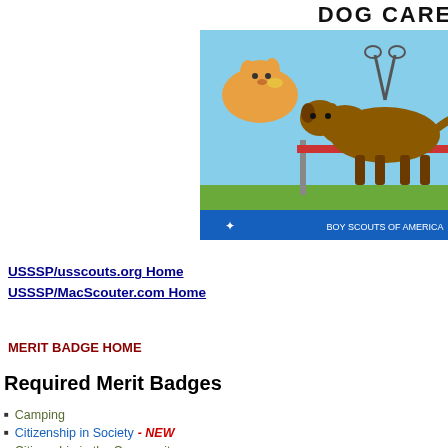[Figure (photo): Cover of Boy Scouts of America Dog Care merit badge pamphlet, showing a corgi, a German Shepherd jumping over a hurdle, and other dogs]
(officially January 2017) However, requirements became available when a merit badge pamphlet issued 2016
To see changes which were made, Click here
For the previous requirements Click here
USSSP/usscouts.org Home
USSSSP/MacScouter.com Home
MERIT BADGE HOME
Required Merit Badges
Camping
Citizenship in Society - NEW
Citizenship in the Community
Citizenship in the Nation
Citizenship in the World
Communication
Cooking
Cycling
Do the following: a. Briefly discuss the history of dogs, their origin and domestication